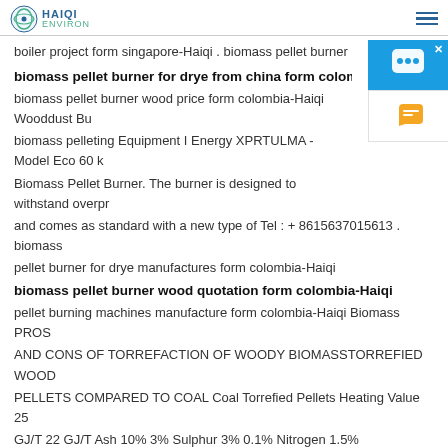HAIQI ENVIRON
boiler project form singapore-Haiqi . biomass pellet burner
biomass pellet burner for drye from china form colombia-Haiqi
biomass pellet burner wood price form colombia-Haiqi Wooddust Burner biomass pelleting Equipment I Energy XPRTULMA - Model Eco 60 kW Biomass Pellet Burner. The burner is designed to withstand overpressure and comes as standard with a new type of Tel : + 8615637015613 . biomass pellet burner for drye manufactures form colombia-Haiqi
biomass pellet burner wood quotation form colombia-Haiqi
pellet burning machines manufacture form colombia-Haiqi Biomass PROS AND CONS OF TORREFACTION OF WOODY BIOMASSTORREFIED WOOD PELLETS COMPARED TO COAL Coal Torrefied Pellets Heating Value 25 GJ/T 22 GJ/T Ash 10% 3% Sulphur 3% 0.1% Nitrogen 1.5%
biomass burning machine to replace coal fired boiler
biomass burning machine to replace coal fired boiler promotion form colombia . The dirty little secret behind 'clEnvironmental protectionlectricity from wasten
pellet buring machines wholesale form china-Haiqi Biomass